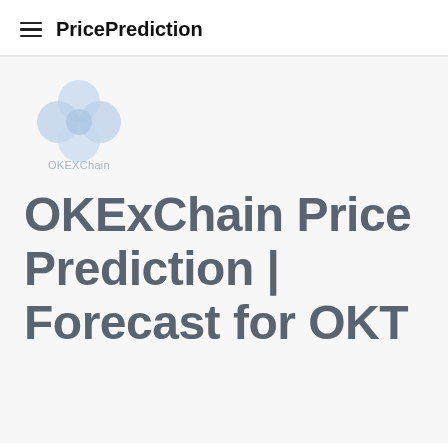PricePrediction
[Figure (logo): OKEXChain logo — four overlapping light blue circles arranged in a flower/clover pattern, with the text 'OKEXChain' below in light gray]
OKExChain Price Prediction | Forecast for OKT